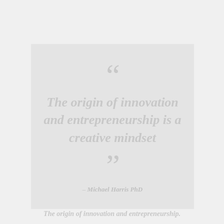“The origin of innovation and entrepreneurship is a creative mindset” – Michael Harris PhD
The origin of innovation and entrepreneurship.